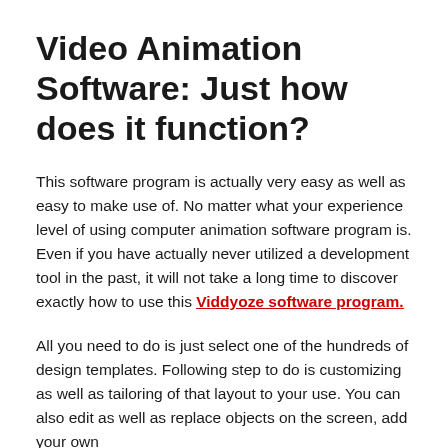Video Animation Software: Just how does it function?
This software program is actually very easy as well as easy to make use of. No matter what your experience level of using computer animation software program is. Even if you have actually never utilized a development tool in the past, it will not take a long time to discover exactly how to use this Viddyoze software program.
All you need to do is just select one of the hundreds of design templates. Following step to do is customizing as well as tailoring of that layout to your use. You can also edit as well as replace objects on the screen, add your own